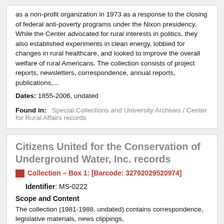Abstract: The Center for Rural Affairs was organized as a non-profit organization in 1973 as a response to the closing of federal anti-poverty programs under the Nixon presidency. While the Center advocated for rural interests in politics, they also established experiments in clean energy, lobbied for changes in rural healthcare, and looked to improve the overall welfare of rural Americans. The collection consists of project reports, newsletters, correspondence, annual reports, publications,...
Dates: 1855-2006, undated
Found in:  Special Collections and University Archives / Center for Rural Affairs records
Citizens United for the Conservation of Underground Water, Inc. records
Collection – Box 1: [Barcode: 32792029520974]
Identifier: MS-0222
Scope and Content
The collection (1981-1988, undated) contains correspondence, legislative materials, news clippings,